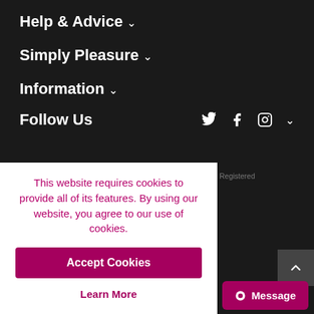Help & Advice ˅
Simply Pleasure ˅
Information ˅
Follow Us
©Copyright 2022 Simply Pleasure LTD. All Rights Reserved. Registered ...wngate House, 2-8 Parkstone Rd, ...15 2PW, UK
This website requires cookies to provide all of its features. By using our website, you agree to our use of cookies.
Accept Cookies
Learn More
Message